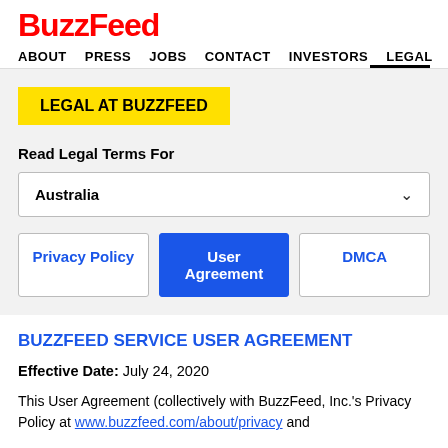BuzzFeed
ABOUT   PRESS   JOBS   CONTACT   INVESTORS   LEGAL
LEGAL AT BUZZFEED
Read Legal Terms For
Australia
Privacy Policy   User Agreement   DMCA
BUZZFEED SERVICE USER AGREEMENT
Effective Date: July 24, 2020
This User Agreement (collectively with BuzzFeed, Inc.'s Privacy Policy at www.buzzfeed.com/about/privacy and